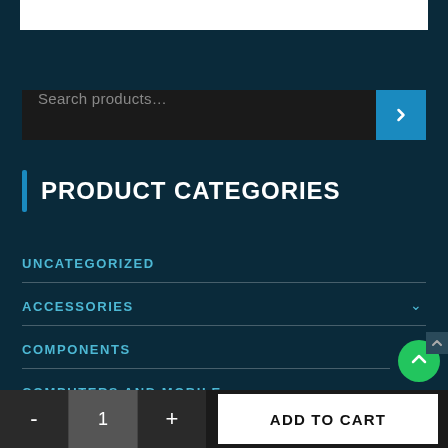[Figure (screenshot): White banner/logo area at top of e-commerce sidebar]
Search products…
PRODUCT CATEGORIES
UNCATEGORIZED
ACCESSORIES
COMPONENTS
COMPUTERS AND MOBILE
- 1 + ADD TO CART